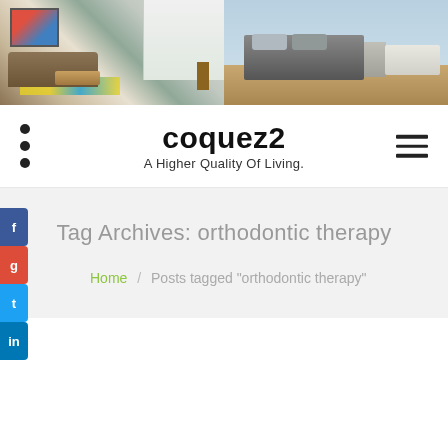[Figure (photo): Two interior room photos side by side: left shows a modern living room with sofa, colorful rug, coffee table, and open kitchen; right shows a minimalist bedroom with grey bed and desk area]
coquez2
A Higher Quality Of Living.
Tag Archives: orthodontic therapy
Home / Posts tagged "orthodontic therapy"